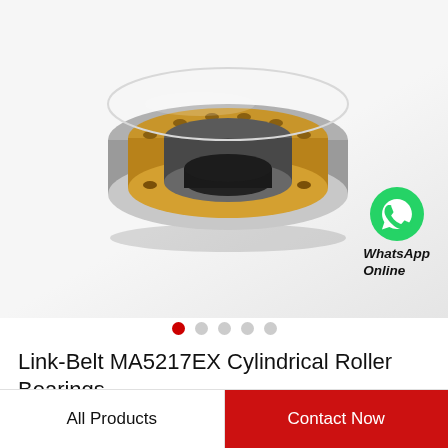[Figure (photo): Cylindrical roller bearing (Link-Belt MA5217EX) shown at angle, with gold/brass-colored cage, steel inner and outer rings, on light gray gradient background. WhatsApp Online badge in bottom-right corner.]
Link-Belt MA5217EX Cylindrical Roller Bearings
All Products
Contact Now